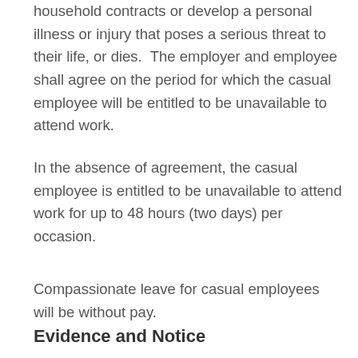household contracts or develop a personal illness or injury that poses a serious threat to their life, or dies.  The employer and employee shall agree on the period for which the casual employee will be entitled to be unavailable to attend work.
In the absence of agreement, the casual employee is entitled to be unavailable to attend work for up to 48 hours (two days) per occasion.
Compassionate leave for casual employees will be without pay.
Evidence and Notice